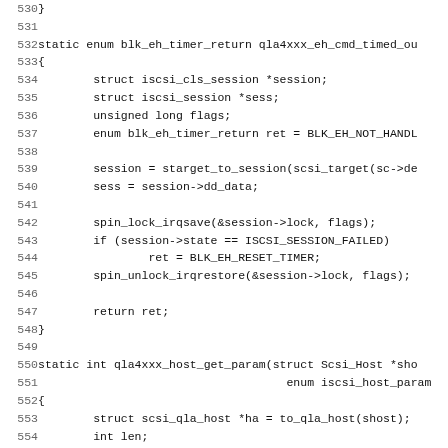[Figure (screenshot): Source code listing showing C functions qla4xxx_eh_cmd_timed_out and qla4xxx_host_get_param, lines 530-562, with line numbers on the left and monospace code on the right.]